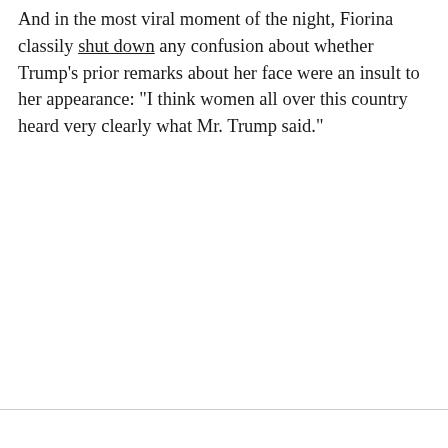And in the most viral moment of the night, Fiorina classily shut down any confusion about whether Trump's prior remarks about her face were an insult to her appearance: "I think women all over this country heard very clearly what Mr. Trump said."